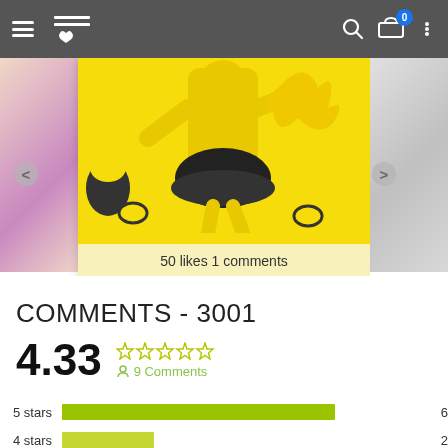[Figure (screenshot): Mobile app navigation bar with hamburger menu, heart/logo icon, search icon, cart with badge showing 0, and dots menu]
[Figure (photo): Product image carousel showing a dancer in yellow and black costume with '50 likes 1 comments' overlay, flanked by partial images of other products]
COMMENTS - 3001
4.33  ☆☆☆☆☆  9 Comments
[Figure (bar-chart): Star ratings distribution]